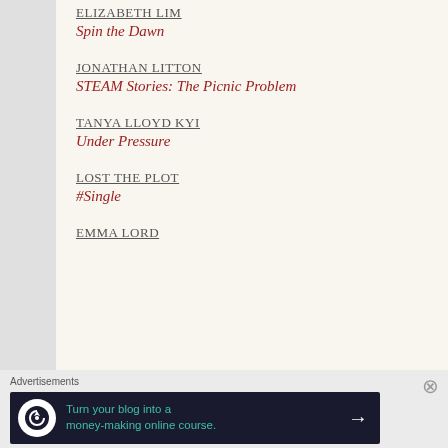ELIZABETH LIM
Spin the Dawn
JONATHAN LITTON
STEAM Stories: The Picnic Problem
TANYA LLOYD KYI
Under Pressure
LOST THE PLOT
#Single
EMMA LORD
Advertisements
Turn your blog into a money-making online course.